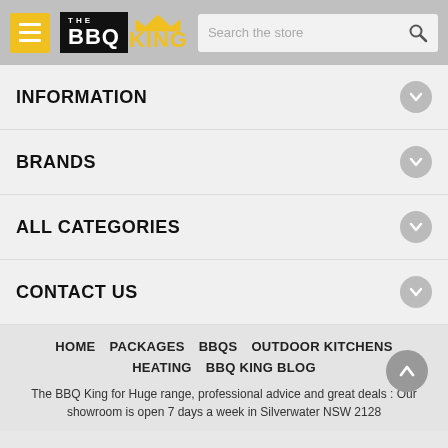[Figure (logo): The BBQ King logo with hamburger menu button and search bar in grey header]
INFORMATION
BRANDS
ALL CATEGORIES
CONTACT US
HOME   PACKAGES   BBQS   OUTDOOR KITCHENS   HEATING   BBQ KING BLOG
The BBQ King for Huge range, professional advice and great deals : Our showroom is open 7 days a week in Silverwater NSW 2128